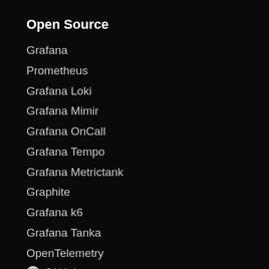Open Source
Grafana
Prometheus
Grafana Loki
Grafana Mimir
Grafana OnCall
Grafana Tempo
Grafana Metrictank
Graphite
Grafana k6
Grafana Tanka
OpenTelemetry
GitHub
Learn
Grafana Labs Blog